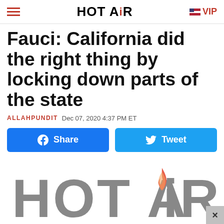HOT AIR  VIP
Fauci: California did the right thing by locking down parts of the state
ALLAHPUNDIT  Dec 07, 2020 4:37 PM ET
[Figure (other): Facebook Share button and Twitter Tweet button]
[Figure (logo): Large HOT AIR logo with flame icon in grey]